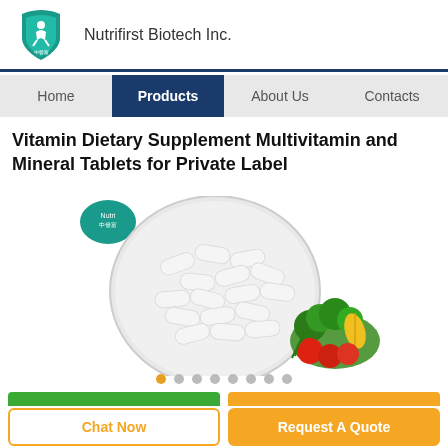[Figure (logo): Nutrifirst Biotech Inc. logo — teal shield with figure and Chinese characters]
Nutrifirst Biotech Inc.
Home
Products
About Us
Contacts
Vitamin Dietary Supplement Multivitamin and Mineral Tablets for Private Label
[Figure (photo): White multivitamin tablets/capsules in a round white bowl, with colorful fresh vegetables (tomatoes, corn, broccoli, herbs) beside the bowl. Small Nutrifirst logo overlaid top-left of the bowl.]
Chat Now
Request A Quote